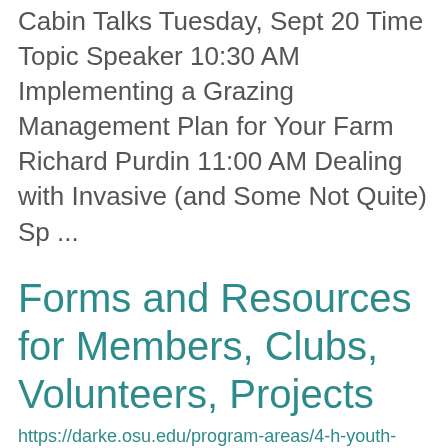Cabin Talks Tuesday, Sept 20 Time Topic Speaker 10:30 AM Implementing a Grazing Management Plan for Your Farm Richard Purdin 11:00 AM Dealing with Invasive (and Some Not Quite) Sp ...
Forms and Resources for Members, Clubs, Volunteers, Projects
https://darke.osu.edu/program-areas/4-h-youth-development/forms-and-resources
Forms and Resources for 4-H Members
Forms and Resources for 4-H Clubs
Project Resources Award Applications for Adults Forms and Resources for 4-H